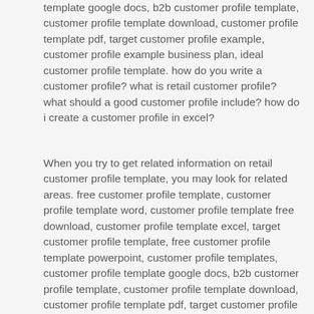template google docs, b2b customer profile template, customer profile template download, customer profile template pdf, target customer profile example, customer profile example business plan, ideal customer profile template. how do you write a customer profile? what is retail customer profile? what should a good customer profile include? how do i create a customer profile in excel?
When you try to get related information on retail customer profile template, you may look for related areas. free customer profile template, customer profile template word, customer profile template free download, customer profile template excel, target customer profile template, free customer profile template powerpoint, customer profile templates, customer profile template google docs, b2b customer profile template, customer profile template download, customer profile template pdf, target customer profile example, customer profile